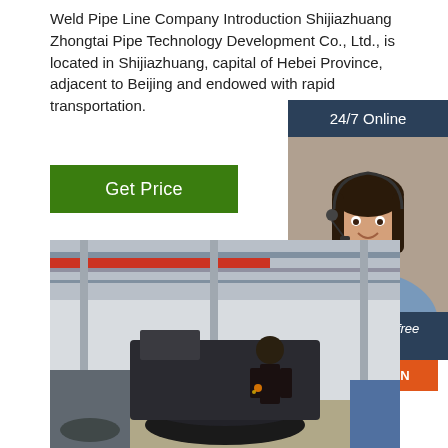Weld Pipe Line Company Introduction Shijiazhuang Zhongtai Pipe Technology Development Co., Ltd., is located in Shijiazhuang, capital of Hebei Province, adjacent to Beijing and endowed with rapid transportation.
Get Price
24/7 Online
[Figure (photo): Customer service agent woman with headset smiling]
Click here for free chat !
QUOTATION
[Figure (photo): Factory interior with worker welding or working on large industrial pipe/flange machinery under overhead crane]